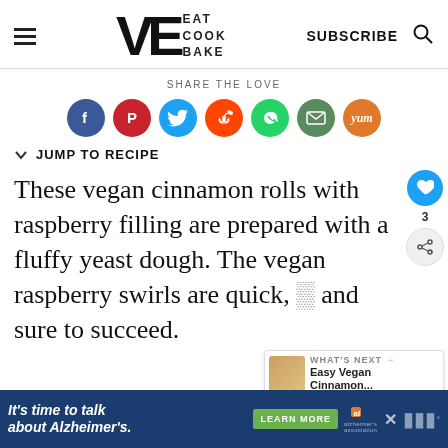VE EAT COOK BAKE | SUBSCRIBE
SHARE THE LOVE
[Figure (infographic): Social share icons: Facebook (blue), Pinterest (red), Twitter (light blue), Reddit (orange-red), WhatsApp (green), Email (dark green), Yummly (orange)]
JUMP TO RECIPE
These vegan cinnamon rolls with raspberry filling are prepared with a fluffy yeast dough. The vegan raspberry swirls are quick, and sure to succeed.